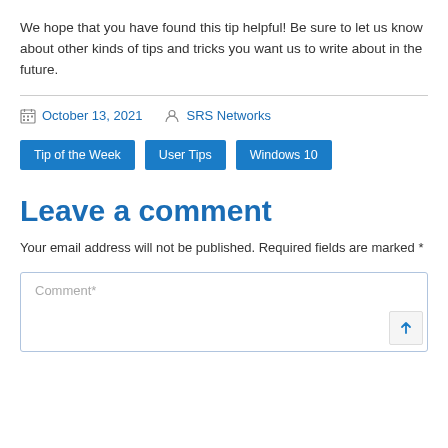We hope that you have found this tip helpful! Be sure to let us know about other kinds of tips and tricks you want us to write about in the future.
October 13, 2021   SRS Networks
Tip of the Week
User Tips
Windows 10
Leave a comment
Your email address will not be published. Required fields are marked *
Comment*